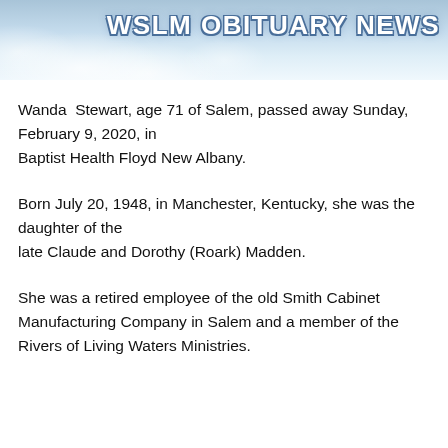WSLM OBITUARY NEWS
Wanda Stewart, age 71 of Salem, passed away Sunday, February 9, 2020, in Baptist Health Floyd New Albany.
Born July 20, 1948, in Manchester, Kentucky, she was the daughter of the late Claude and Dorothy (Roark) Madden.
She was a retired employee of the old Smith Cabinet Manufacturing Company in Salem and a member of the Rivers of Living Waters Ministries.